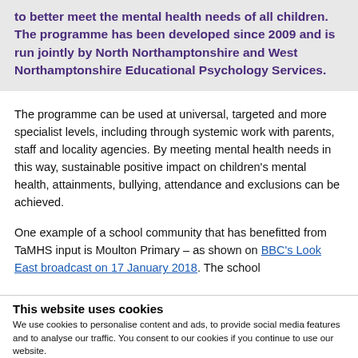to better meet the mental health needs of all children. The programme has been developed since 2009 and is run jointly by North Northamptonshire and West Northamptonshire Educational Psychology Services.
The programme can be used at universal, targeted and more specialist levels, including through systemic work with parents, staff and locality agencies. By meeting mental health needs in this way, sustainable positive impact on children's mental health, attainments, bullying, attendance and exclusions can be achieved.
One example of a school community that has benefitted from TaMHS input is Moulton Primary – as shown on BBC's Look East broadcast on 17 January 2018. The school
This website uses cookies
We use cookies to personalise content and ads, to provide social media features and to analyse our traffic. You consent to our cookies if you continue to use our website.